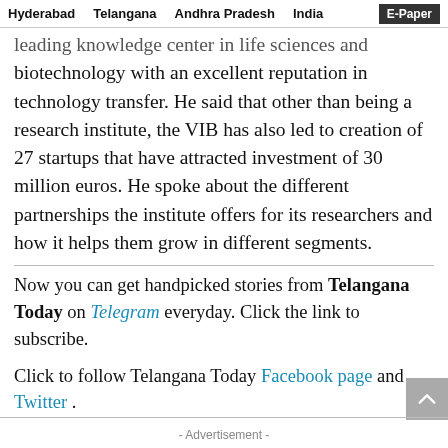Hyderabad   Telangana   Andhra Pradesh   India   E-Paper
leading knowledge center in life sciences and biotechnology with an excellent reputation in technology transfer. He said that other than being a research institute, the VIB has also led to creation of 27 startups that have attracted investment of 30 million euros. He spoke about the different partnerships the institute offers for its researchers and how it helps them grow in different segments.
Now you can get handpicked stories from Telangana Today on Telegram everyday. Click the link to subscribe.
Click to follow Telangana Today Facebook page and Twitter.